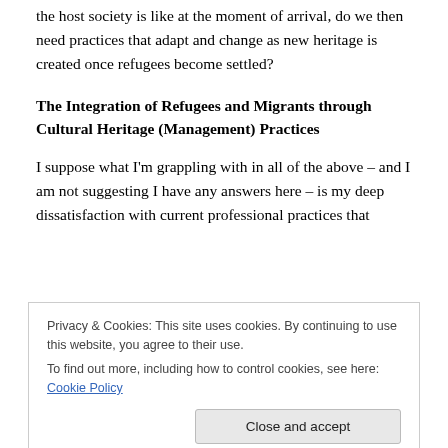the host society is like at the moment of arrival, do we then need practices that adapt and change as new heritage is created once refugees become settled?
The Integration of Refugees and Migrants through Cultural Heritage (Management) Practices
I suppose what I'm grappling with in all of the above – and I am not suggesting I have any answers here – is my deep dissatisfaction with current professional practices that
Privacy & Cookies: This site uses cookies. By continuing to use this website, you agree to their use.
To find out more, including how to control cookies, see here: Cookie Policy
calls it (p. 25), is still in my view the best approach in